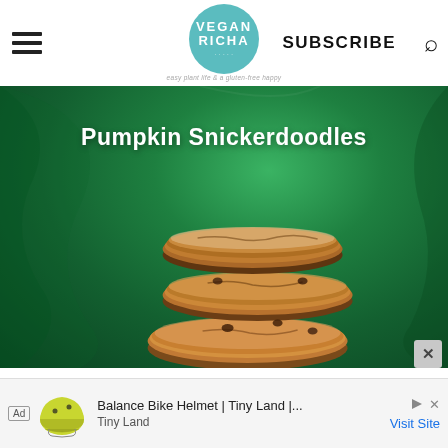VEGAN RICHA — SUBSCRIBE
[Figure (photo): Stack of three pumpkin snickerdoodle cookies coated in cinnamon sugar, placed on a green fabric background. White bold text overlay reads 'Pumpkin Snickerdoodles'.]
[Figure (photo): Advertisement: Yellow balance bike helmet from Tiny Land. Text reads 'Balance Bike Helmet | Tiny Land |...' with 'Tiny Land' brand and 'Visit Site' link.]